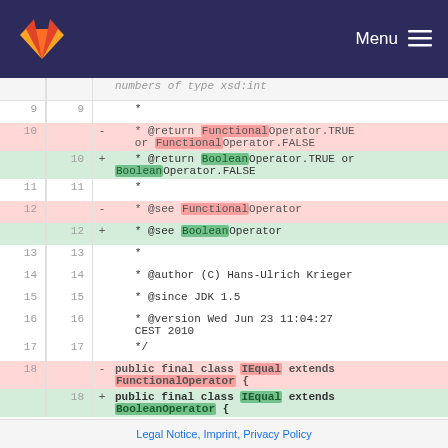GitLab | Menu
[Figure (screenshot): Git diff view showing code changes from FunctionalOperator to BooleanOperator in a Java class IEqual, with line numbers and added/removed highlighting]
Legal Notice, Imprint, Privacy Policy